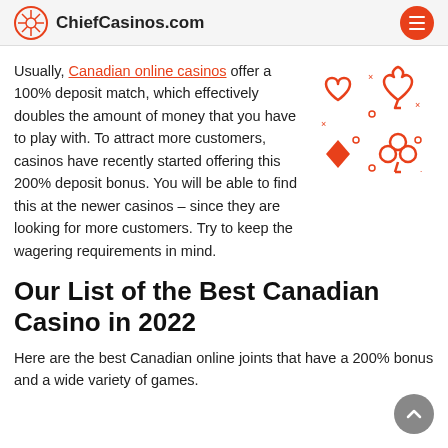ChiefCasinos.com
Usually, Canadian online casinos offer a 100% deposit match, which effectively doubles the amount of money that you have to play with. To attract more customers, casinos have recently started offering this 200% deposit bonus. You will be able to find this at the newer casinos – since they are looking for more customers. Try to keep the wagering requirements in mind.
[Figure (illustration): Playing card suit icons (heart, spade, diamond, club) in red/orange outlined style with small decorative dots and x marks]
Our List of the Best Canadian Casino in 2022
Here are the best Canadian online joints that have a 200% bonus and a wide variety of games.